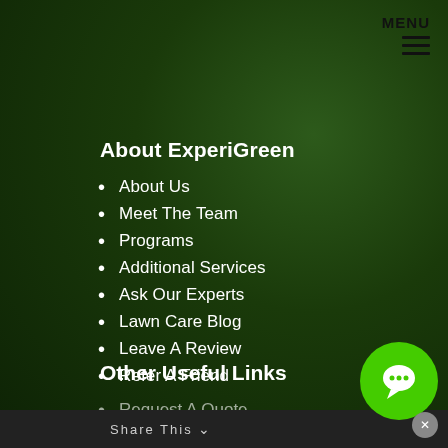MENU
About ExperiGreen
About Us
Meet The Team
Programs
Additional Services
Ask Our Experts
Lawn Care Blog
Leave A Review
Refer A Friend
Other Useful Links
Request A Quote
Share This